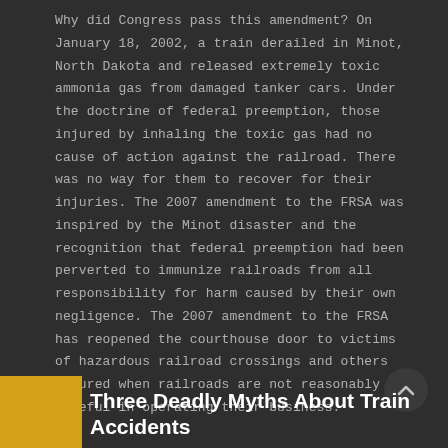Why did Congress pass this amendment? On January 18, 2002, a train derailed in Minot, North Dakota and released extremely toxic ammonia gas from damaged tanker cars. Under the doctrine of federal preemption, those injured by inhaling the toxic gas had no cause of action against the railroad. There was no way for them to recover for their injuries. The 2007 amendment to the FRSA was inspired by the Minot disaster and the recognition that federal preemption had been perverted to immunize railroads from all responsibility for harm caused by their own negligence. The 2007 amendment to the FRSA has reopened the courthouse door to victims of hazardous railroad crossings and others injured when railroads are not reasonably careful in operating their business.
Three Deadly Myths About Train Accidents